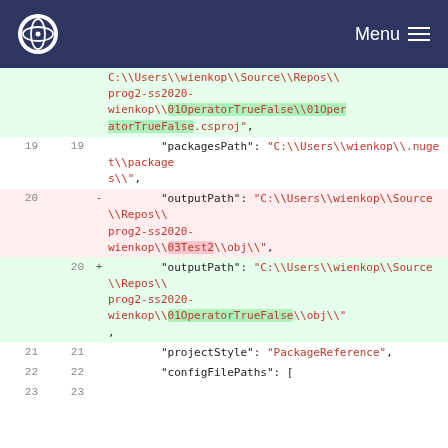Menu
C:\\Users\\wienkop\\Source\\Repos\\prog2-ss2020-wienkop\\01OperatorTrueFalse\\01OperatorTrueFalse.csproj",
19  19    "packagesPath": "C:\\Users\\wienkop\\.nuget\\packages\\",
20  -    "outputPath": "C:\\Users\\wienkop\\Source\\Repos\\prog2-ss2020-wienkop\\03Test2\\obj\\",
20  +    "outputPath": "C:\\Users\\wienkop\\Source\\Repos\\prog2-ss2020-wienkop\\01OperatorTrueFalse\\obj\\",
21  21    "projectStyle": "PackageReference",
22  22    "configFilePaths": [
23  23